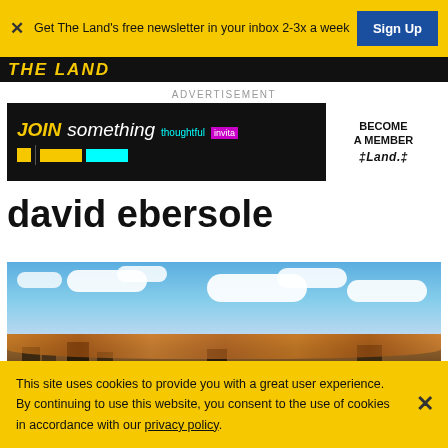Get The Land's free newsletter in your inbox 2-3x a week
Sign Up
[Figure (logo): The Land publication logo in yellow on black background]
ADVERTISEMENT
[Figure (illustration): Ad banner: JOIN something thoughtful invita... BECOME A MEMBER The Land.]
david ebersole
[Figure (photo): Aerial cityscape photo showing skyline with autumn foliage under partly cloudy blue sky]
This site uses cookies to provide you with a great user experience. By continuing to use this website, you consent to the use of cookies in accordance with our privacy policy.